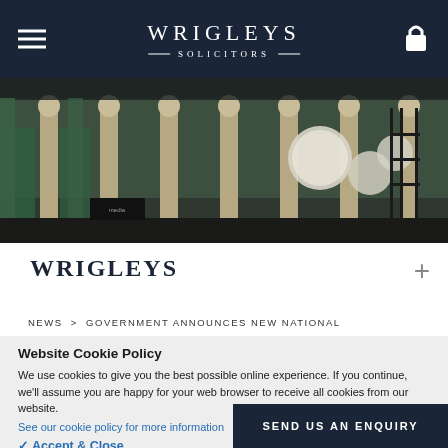WRIGLEYS SOLICITORS
[Figure (photo): Architectural photo showing ornate building colonnade with globe light fixtures and wrought iron gates]
WRIGLEYS
NEWS > GOVERNMENT ANNOUNCES NEW NATIONAL
Website Cookie Policy
We use cookies to give you the best possible online experience. If you continue, we'll assume you are happy for your web browser to receive all cookies from our website.
See our cookie policy for more information
✓ Accept & Close
SEND US AN ENQUIRY